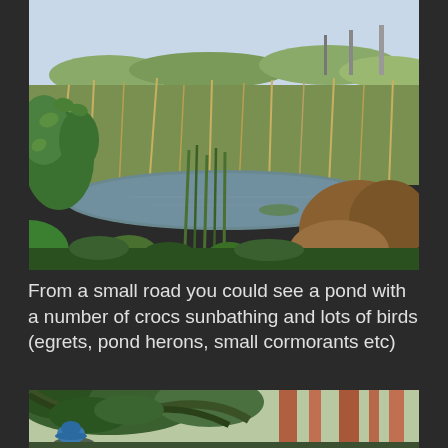[Figure (photo): Outdoor nature photo of a pond surrounded by lush green vegetation, reeds, and tall grasses with trees in the background under a clear sky]
From a small road you could see a pond with a number of crocs sunbathing and lots of birds (egrets, pond herons, small cormorants etc)
[Figure (photo): Partial photo of a dense forest with tall trees, a person wearing a blue hat visible at the bottom left]